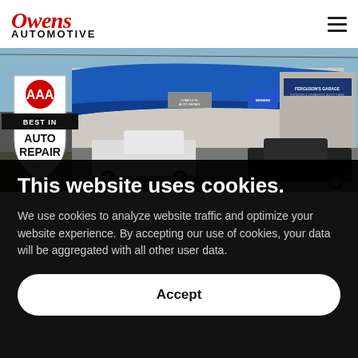[Figure (logo): Owens Automotive logo with red italic script 'Owens' and bold uppercase 'AUTOMOTIVE']
[Figure (photo): Exterior photo of Owens Automotive garage building with blue canopy, vehicles in parking lot, and AAA Best in Auto Repair 2021 badge overlay]
This website uses cookies.
We use cookies to analyze website traffic and optimize your website experience. By accepting our use of cookies, your data will be aggregated with all other user data.
Accept